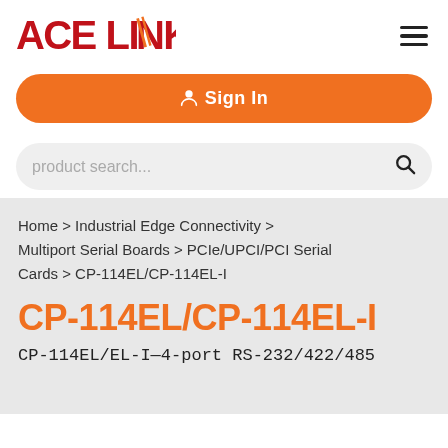ACELINK
Sign In
product search...
Home > Industrial Edge Connectivity > Multiport Serial Boards > PCIe/UPCI/PCI Serial Cards > CP-114EL/CP-114EL-I
CP-114EL/CP-114EL-I
CP-114EL/EL-I—4-port RS-232/422/485